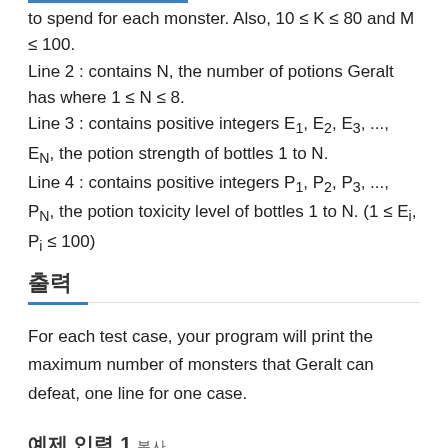to spend for each monster. Also, 10 ≤ K ≤ 80 and M ≤ 100.
Line 2 : contains N, the number of potions Geralt has where 1 ≤ N ≤ 8.
Line 3 : contains positive integers E₁, E₂, E₃, ..., Eₙ, the potion strength of bottles 1 to N.
Line 4 : contains positive integers P₁, P₂, P₃, ..., Pₙ, the potion toxicity level of bottles 1 to N. (1 ≤ Eᵢ, Pᵢ ≤ 100)
출력
For each test case, your program will print the maximum number of monsters that Geralt can defeat, one line for one case.
예제 입력 1